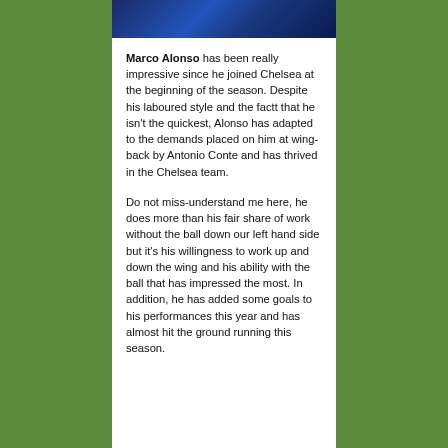[Figure (photo): Photo of Marco Alonso in Chelsea blue kit, cropped at the top of the page]
Marco Alonso has been really impressive since he joined Chelsea at the beginning of the season. Despite his laboured style and the factt that he isn't the quickest, Alonso has adapted to the demands placed on him at wing-back by Antonio Conte and has thrived in the Chelsea team.
Do not miss-understand me here, he does more than his fair share of work without the ball down our left hand side but it's his willingness to work up and down the wing and his ability with the ball that has impressed the most. In addition, he has added some goals to his performances this year and has almost hit the ground running this season.